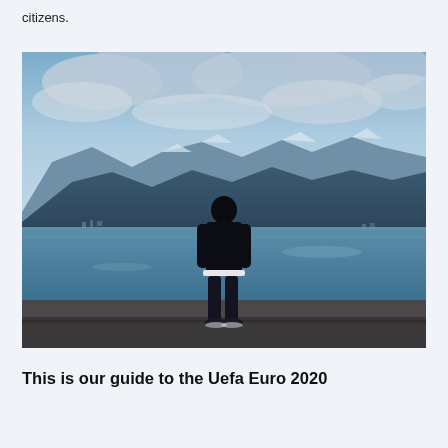citizens.
[Figure (photo): A person standing with their back to the camera on a promenade, looking out at a large lake with dramatic mountains and cloudy blue sky in the background.]
This is our guide to the Uefa Euro 2020